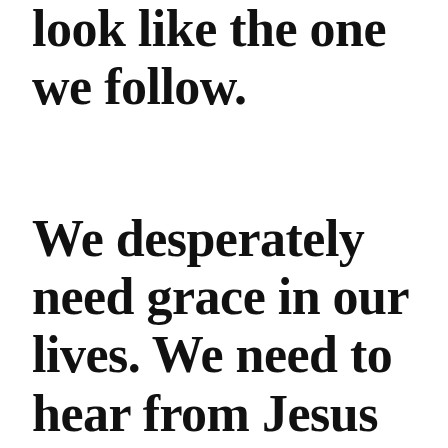look like the one we follow.
We desperately need grace in our lives. We need to hear from Jesus “Come to me, all you who are weary and